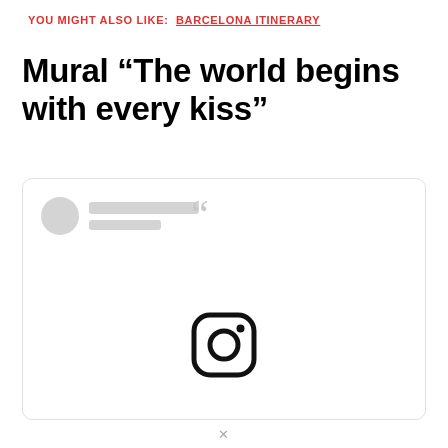YOU MIGHT ALSO LIKE:  Barcelona Itinerary
Mural “The world begins with every kiss”
[Figure (screenshot): Embedded social media post placeholder with avatar, text lines, quotation mark icon, and Instagram icon in a rounded rectangle card.]